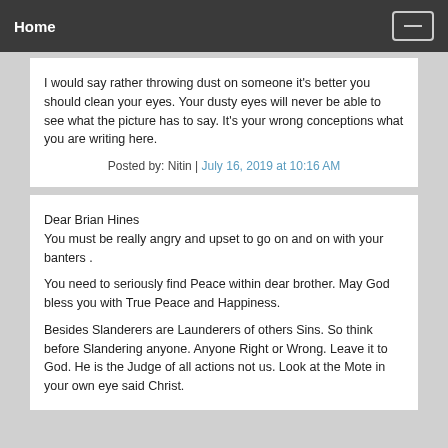Home
I would say rather throwing dust on someone it's better you should clean your eyes. Your dusty eyes will never be able to see what the picture has to say. It's your wrong conceptions what you are writing here.
Posted by: Nitin | July 16, 2019 at 10:16 AM
Dear Brian Hines
You must be really angry and upset to go on and on with your banters .
You need to seriously find Peace within dear brother. May God bless you with True Peace and Happiness.
Besides Slanderers are Launderers of others Sins. So think before Slandering anyone. Anyone Right or Wrong. Leave it to God. He is the Judge of all actions not us. Look at the Mote in your own eye said Christ.